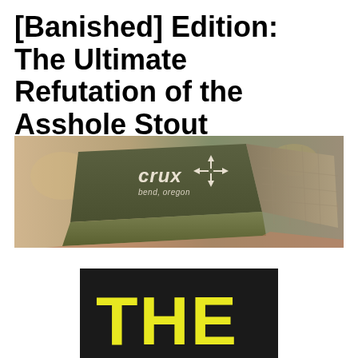[Banished] Edition: The Ultimate Refutation of the Asshole Stout
[Figure (photo): Close-up photo of a green and tan trucker cap with 'crux bend, oregon' logo and a compass-arrow icon on the front panel.]
[Figure (photo): Partial image showing large yellow bold letters 'THE' on a black background, appearing to be a logo or publication title graphic.]